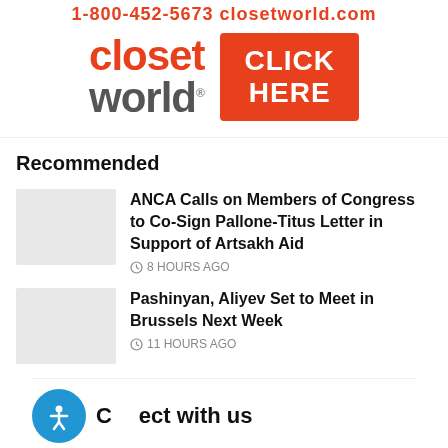[Figure (advertisement): Closet World advertisement banner with phone number, logo (closet world with registered trademark), and orange CLICK HERE button]
Recommended
[Figure (illustration): Thumbnail image placeholder (light gray) for ANCA article]
ANCA Calls on Members of Congress to Co-Sign Pallone-Titus Letter in Support of Artsakh Aid
8 HOURS AGO
[Figure (illustration): Thumbnail image placeholder (light gray) for Pashinyan article]
Pashinyan, Aliyev Set to Meet in Brussels Next Week
11 HOURS AGO
Connect with us